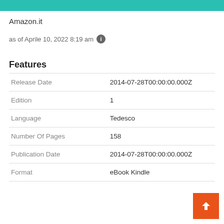Amazon.it
as of Aprile 10, 2022 8:19 am
Features
|  |  |
| --- | --- |
| Release Date | 2014-07-28T00:00:00.000Z |
| Edition | 1 |
| Language | Tedesco |
| Number Of Pages | 158 |
| Publication Date | 2014-07-28T00:00:00.000Z |
| Format | eBook Kindle |